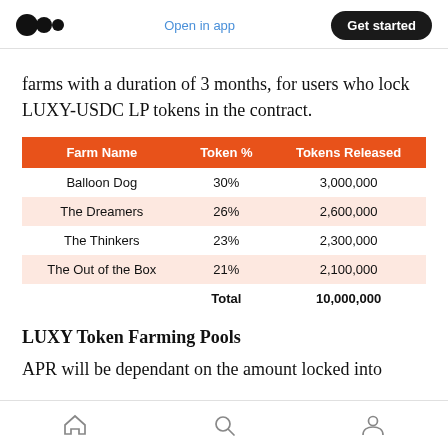Medium logo | Open in app | Get started
farms with a duration of 3 months, for users who lock LUXY-USDC LP tokens in the contract.
| Farm Name | Token % | Tokens Released |
| --- | --- | --- |
| Balloon Dog | 30% | 3,000,000 |
| The Dreamers | 26% | 2,600,000 |
| The Thinkers | 23% | 2,300,000 |
| The Out of the Box | 21% | 2,100,000 |
|  | Total | 10,000,000 |
LUXY Token Farming Pools
APR will be dependant on the amount locked into
Home | Search | Profile